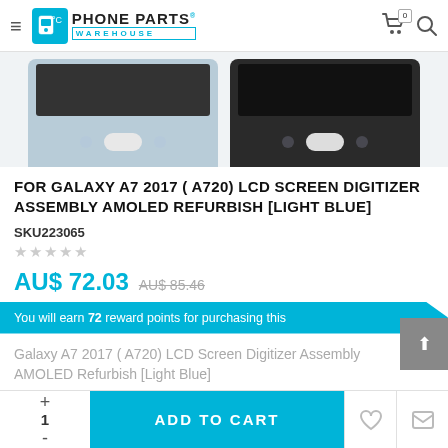Phone Parts Warehouse
[Figure (photo): Two Samsung Galaxy A7 2017 LCD screens — left in light blue, right in black — showing the bottom of the display with home button]
FOR GALAXY A7 2017 ( A720) LCD SCREEN DIGITIZER ASSEMBLY AMOLED REFURBISH [LIGHT BLUE]
SKU223065
AU$ 72.03  AU$ 85.46
You will earn 72 reward points for purchasing this
Galaxy A7 2017 ( A720) LCD Screen Digitizer Assembly AMOLED Refurbish [Light Blue]